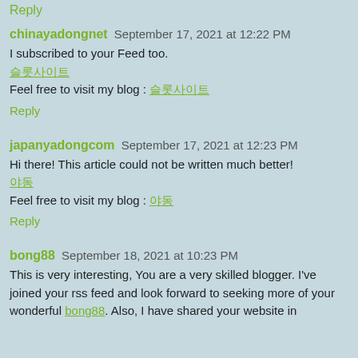Reply
chinayadongnet September 17, 2021 at 12:22 PM
I subscribed to your Feed too.
슬롯사이트
Feel free to visit my blog : 슬롯사이트
Reply
japanyadongcom September 17, 2021 at 12:23 PM
Hi there! This article could not be written much better!
야동
Feel free to visit my blog : 야동
Reply
bong88 September 18, 2021 at 10:23 PM
This is very interesting, You are a very skilled blogger. I've joined your rss feed and look forward to seeking more of your wonderful bong88. Also, I have shared your website in